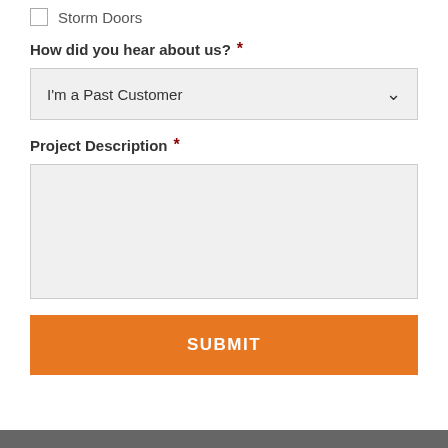Storm Doors
How did you hear about us? *
I'm a Past Customer
Project Description *
SUBMIT